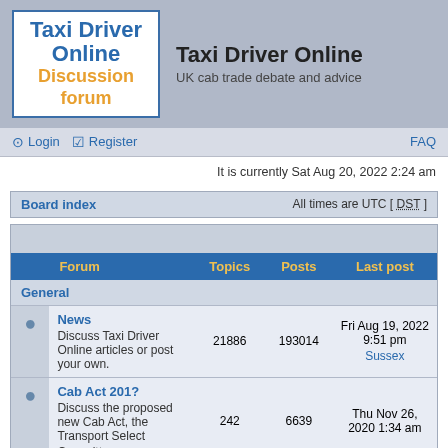Taxi Driver Online — UK cab trade debate and advice
Login   Register   FAQ
It is currently Sat Aug 20, 2022 2:24 am
Board index   All times are UTC [ DST ]
|  | Forum | Topics | Posts | Last post |
| --- | --- | --- | --- | --- |
| General |  |  |  |  |
|  | News — Discuss Taxi Driver Online articles or post your own. | 21886 | 193014 | Fri Aug 19, 2022 9:51 pm Sussex |
|  | Cab Act 201? — Discuss the proposed new Cab Act, the Transport Select Committee... | 242 | 6639 | Thu Nov 26, 2020 1:34 am |